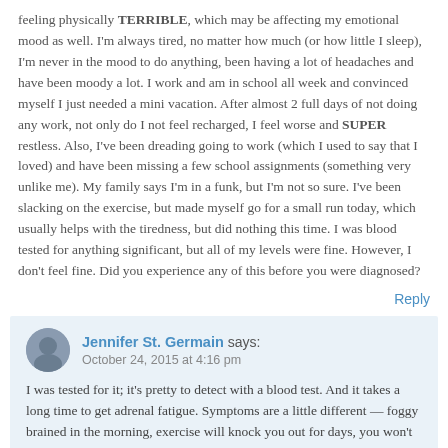feeling physically TERRIBLE, which may be affecting my emotional mood as well. I'm always tired, no matter how much (or how little I sleep), I'm never in the mood to do anything, been having a lot of headaches and have been moody a lot. I work and am in school all week and convinced myself I just needed a mini vacation. After almost 2 full days of not doing any work, not only do I not feel recharged, I feel worse and SUPER restless. Also, I've been dreading going to work (which I used to say that I loved) and have been missing a few school assignments (something very unlike me). My family says I'm in a funk, but I'm not so sure. I've been slacking on the exercise, but made myself go for a small run today, which usually helps with the tiredness, but did nothing this time. I was blood tested for anything significant, but all of my levels were fine. However, I don't feel fine. Did you experience any of this before you were diagnosed?
Reply
Jennifer St. Germain says: October 24, 2015 at 4:16 pm
I was tested for it; it's pretty to detect with a blood test. And it takes a long time to get adrenal fatigue. Symptoms are a little different — foggy brained in the morning, exercise will knock you out for days, you won't feel alert until after 6pm. It takes years of caffeine abuse, high stress and/or calorie deprivation (in my case, all three) to take your adrenals into low function. It sounds like you might just be going through something. Moodiness and headaches aren't adrenal fatigue symptoms but definitely are symptoms of prolonged stress. And it sounds like you